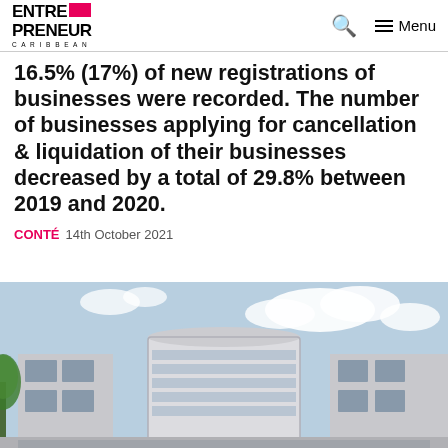ENTREPRENEUR CARIBBEAN | Search | Menu
16.5% (17%) of new registrations of businesses were recorded. The number of businesses applying for cancellation & liquidation of their businesses decreased by a total of 29.8% between 2019 and 2020.
CONTÉ  14th October 2021
[Figure (photo): Exterior photo of a modern building with a cylindrical tower, horizontal window bands, and blue sky with clouds in the background.]